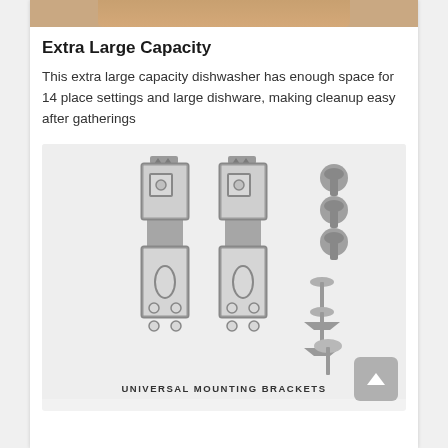[Figure (photo): Partial photo of a person at the top of the page, cropped to show only a small strip]
Extra Large Capacity
This extra large capacity dishwasher has enough space for 14 place settings and large dishware, making cleanup easy after gatherings
[Figure (photo): Product photo of two universal mounting brackets with screws and plastic anchors on a light gray background]
UNIVERSAL MOUNTING BRACKETS